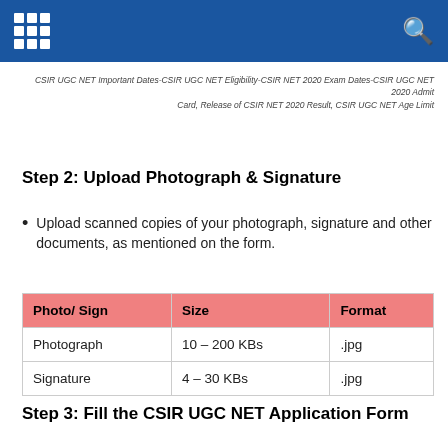CSIR UGC NET Important Dates-CSIR UGC NET Eligibility-CSIR NET 2020 Exam Dates-CSIR UGC NET 2020 Admit Card, Release of CSIR NET 2020 Result, CSIR UGC NET Age Limit
Step 2: Upload Photograph & Signature
Upload scanned copies of your photograph, signature and other documents, as mentioned on the form.
| Photo/ Sign | Size | Format |
| --- | --- | --- |
| Photograph | 10 – 200 KBs | .jpg |
| Signature | 4 – 30 KBs | .jpg |
Step 3: Fill the CSIR UGC NET Application Form